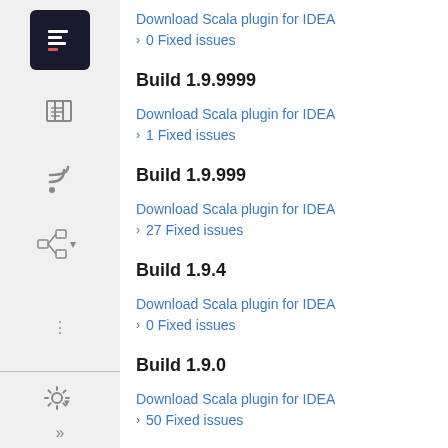Download Scala plugin for IDEA
› 0 Fixed issues
Build 1.9.9999
Download Scala plugin for IDEA
› 1 Fixed issues
Build 1.9.999
Download Scala plugin for IDEA
› 27 Fixed issues
Build 1.9.4
Download Scala plugin for IDEA
› 0 Fixed issues
Build 1.9.0
Download Scala plugin for IDEA
› 50 Fixed issues